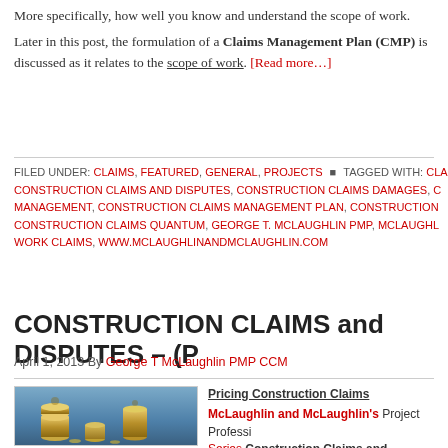More specifically, how well you know and understand the scope of work.
Later in this post, the formulation of a Claims Management Plan (CMP) is discussed as it relates to the scope of work. [Read more…]
FILED UNDER: CLAIMS, FEATURED, GENERAL, PROJECTS • TAGGED WITH: CLAIMS, CONSTRUCTION CLAIMS AND DISPUTES, CONSTRUCTION CLAIMS DAMAGES, CONSTRUCTION CLAIMS MANAGEMENT, CONSTRUCTION CLAIMS MANAGEMENT PLAN, CONSTRUCTION CLAIMS QUANTUM, GEORGE T. MCLAUGHLIN PMP, MCLAUGHLIN, WORK CLAIMS, WWW.MCLAUGHLINANDMCLAUGHLIN.COM
CONSTRUCTION CLAIMS and DISPUTES – (P
April 1, 2013 By George T McLaughlin PMP CCM
[Figure (photo): Stack of gold coins arranged in varying heights against a blue gradient background]
Pricing Construction Claims McLaughlin and McLaughlin's Project Professional Series Construction Claims and Disputes. This is discussions regarding potential and actual construction situations. In this series, we focus on the key aspects of claims and disputes management (rather than mechanically). This is a continuation of Part 4 regarding the pricing of claims